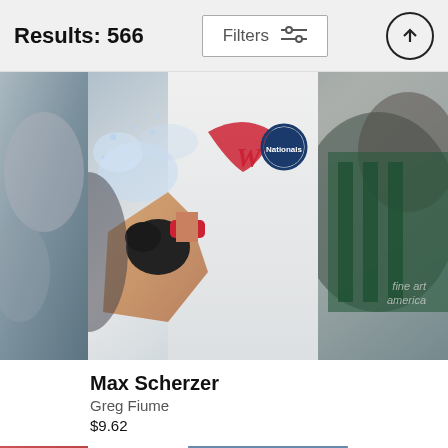Results: 566
Filters
[Figure (photo): Washington Nationals baseball player Max Scherzer being sprayed with water or champagne, wearing white Nationals uniform, photographed by Greg Fiume. Watermark: fine art america]
Max Scherzer
Greg Fiume
$9.62
[Figure (photo): Washington Nationals pitcher wearing red cap and white uniform with number 37, in pitching stance on the mound, crowd visible in background]